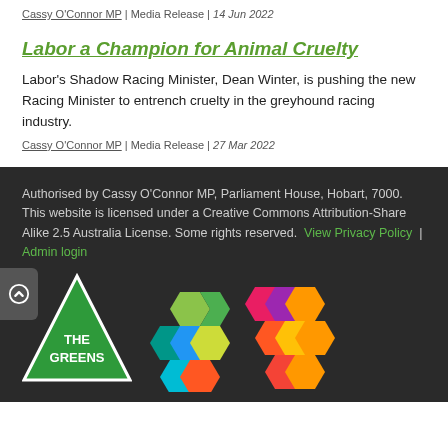Cassy O'Connor MP | Media Release | 14 Jun 2022
Labor a Champion for Animal Cruelty
Labor's Shadow Racing Minister, Dean Winter, is pushing the new Racing Minister to entrench cruelty in the greyhound racing industry.
Cassy O'Connor MP | Media Release | 27 Mar 2022
Authorised by Cassy O'Connor MP, Parliament House, Hobart, 7000. This website is licensed under a Creative Commons Attribution-Share Alike 2.5 Australia License. Some rights reserved. View Privacy Policy | Admin login
[Figure (logo): The Greens party logo — green triangle with 'THE GREENS' text in white, alongside a colorful multi-triangle geometric pattern logo]